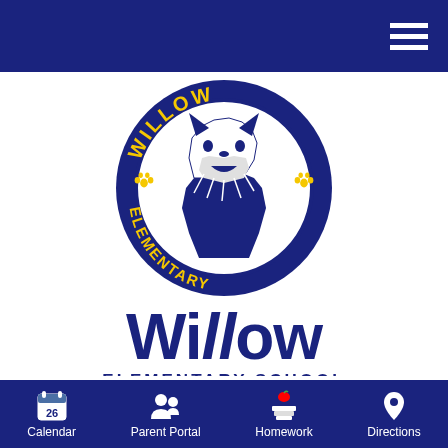[Figure (logo): Willow Elementary School circular logo with a howling wolf mascot, navy blue ring with yellow text reading WILLOW on top and ELEMENTARY on bottom, with yellow paw prints on sides]
Willow ELEMENTARY SCHOOL
ABC DISTRICT   AERIES PORTAL   MY SCHOOL BUCKS
[Figure (infographic): Bottom navigation bar with four icons: Calendar (showing 26), Parent Portal (people icon), Homework (books and apple icon), Directions (map pin icon)]